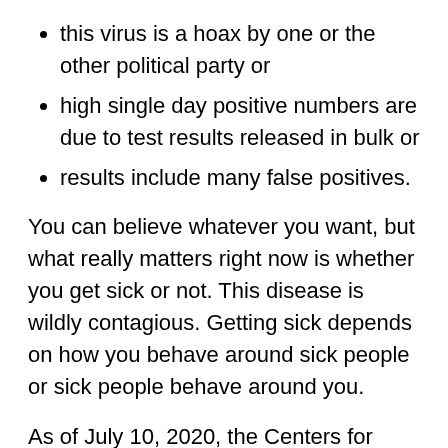this virus is a hoax by one or the other political party or
high single day positive numbers are due to test results released in bulk or
results include many false positives.
You can believe whatever you want, but what really matters right now is whether you get sick or not. This disease is wildly contagious. Getting sick depends on how you behave around sick people or sick people behave around you.
As of July 10, 2020, the Centers for Disease Control and Prevention (CDC) estimate that 80% of Covid-19 cases are asymptomatic or mild. Based on that statistic, we could estimate that of those 15,300